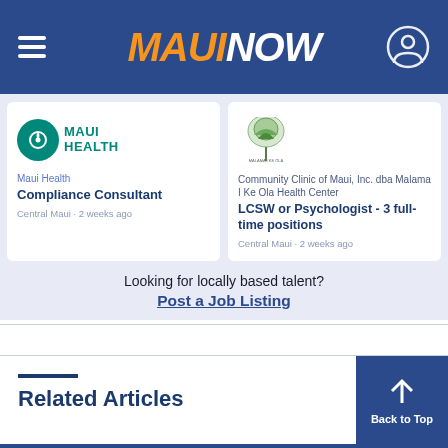MAUI NOW
[Figure (logo): Maui Health logo with teal spiral icon and MAUI HEALTH text]
Maui Health
Compliance Consultant
Central Maui · 2 weeks ago
[Figure (logo): Malama I Ke Ola Health Center logo with green tree/mountain icon]
Community Clinic of Maui, Inc. dba Malama I Ke Ola Health Center
LCSW or Psychologist - 3 full-time positions
Central Maui · 2 weeks ago
Looking for locally based talent?
Post a Job Listing
Related Articles